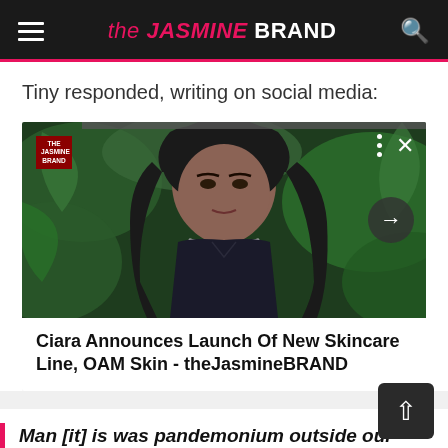the JASMINE BRAND
Tiny responded, writing on social media:
[Figure (screenshot): Embedded video/article widget showing a woman with long dark curly hair in a dark outfit against green foliage background, with caption: Ciara Announces Launch Of New Skincare Line, OAM Skin - theJasmineBRAND]
Ciara Announces Launch Of New Skincare Line, OAM Skin - theJasmineBRAND
Man [it] is was pandemonium outside our lounge, fights broke out because it